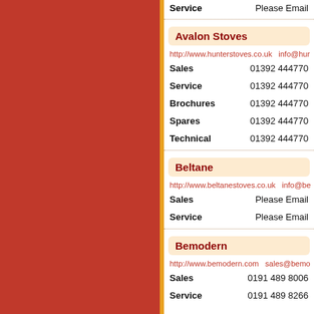Service   Please Email
Avalon Stoves
http://www.hunterstoves.co.uk    info@hur
Sales   01392 444770
Service   01392 444770
Brochures   01392 444770
Spares   01392 444770
Technical   01392 444770
Beltane
http://www.beltanestoves.co.uk    info@be
Sales   Please Email
Service   Please Email
Bemodern
http://www.bemodern.com    sales@bemo
Sales   0191 489 8006
Service   0191 489 8266